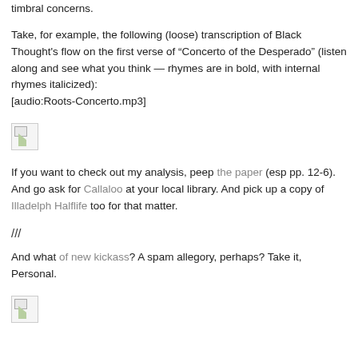techniques, I attempt to explicate the musical poetics at work in the group's invocations and reformations of hip-hop's signpost features, focusing largely on Black Thought's flow and ?uest's drumming and timbral concerns.
Take, for example, the following (loose) transcription of Black Thought's flow on the first verse of “Concerto of the Desperado” (listen along and see what you think — rhymes are in bold, with internal rhymes italicized): [audio:Roots-Concerto.mp3]
[Figure (other): Broken/missing image placeholder]
If you want to check out my analysis, peep the paper (esp pp. 12-6). And go ask for Callaloo at your local library. And pick up a copy of Illadelph Halflife too for that matter.
///
And what of new kickass? A spam allegory, perhaps? Take it, Personal.
[Figure (other): Broken/missing image placeholder]